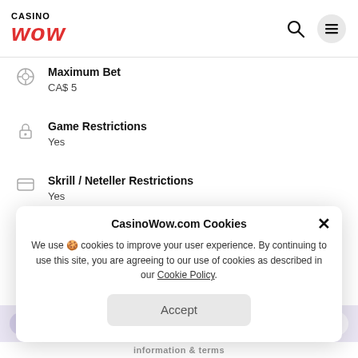Casino WOW
Maximum Bet
CA$ 5
Game Restrictions
Yes
Skrill / Neteller Restrictions
Yes
CasinoWow.com Cookies
We use 🍪 cookies to improve your user experience. By continuing to use this site, you are agreeing to our use of cookies as described in our Cookie Policy.
Accept
Up to CA$ 250 … bonus
information & terms